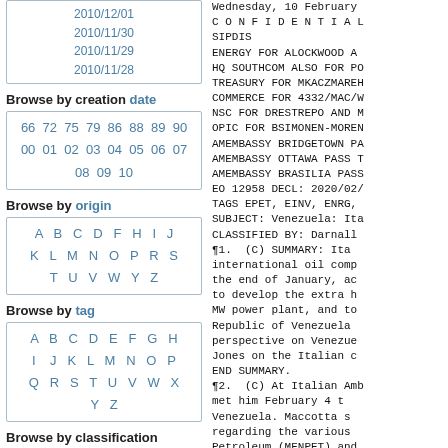| 2010/12/01 |
| 2010/11/30 |
| 2010/11/29 |
| 2010/11/28 |
Browse by creation date
| 66 | 72 | 75 | 79 | 86 | 88 | 89 | 90 |
| 00 | 01 | 02 | 03 | 04 | 05 | 06 | 07 |
| 08 | 09 | 10 |
Browse by origin
| A | B | C | D | F | H | I | J |
| K | L | M | N | O | P | R | S |
| T | U | V | W | Y | Z |
Browse by tag
| A | B | C | D | E | F | G | H |
| I | J | K | L | M | N | O | P |
| Q | R | S | T | U | V | W | X |
| Y | Z |
Browse by classification
| CONFIDENTIAL |
Wednesday, 10 February
C O N F I D E N T I A L
SIPDIS
ENERGY FOR ALOCKWOOD A
HQ SOUTHCOM ALSO FOR PO
TREASURY FOR MKACZMAREH
COMMERCE FOR 4332/MAC/W
NSC FOR DRESTREPO AND M
OPIC FOR BSIMONEN-MOREN
AMEMBASSY BRIDGETOWN PA
AMEMBASSY OTTAWA PASS T
AMEMBASSY BRASILIA PASS
EO 12958 DECL: 2020/02/
TAGS EPET, EINV, ENRG,
SUBJECT: Venezuela: Ita
CLASSIFIED BY: Darnall
¶1. (C) SUMMARY: Ita
international oil comp
the end of January, ac
to develop the extra h
MW power plant, and to
Republic of Venezuela
perspective on Venezue
Jones on the Italian c
END SUMMARY.
¶2. (C) At Italian Amb
met him February 4 t
Venezuela. Maccotta s
regarding the various
Petroleum (MENPET) and
B7 A memorandum of un